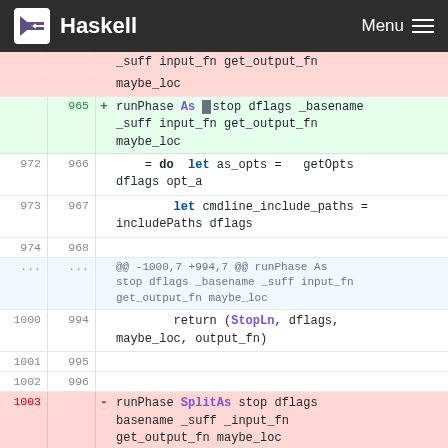Haskell | Menu
diff view showing Haskell source code changes for runPhase As and SplitAs functions
| old | new | marker | code |
| --- | --- | --- | --- |
|  |  |  | _suff input_fn get_output_fn |
|  |  |  | maybe_loc |
|  | 965 | + | runPhase As _stop dflags _basename _suff input_fn get_output_fn maybe_loc |
| 972 | 966 |  | = do  let as_opts =   getOpts dflags opt_a |
| 973 | 967 |  |         let cmdline_include_paths = includePaths dflags |
| 974 | 968 |  |  |
| ... | ... |  | @@ -1000,7 +994,7 @@ runPhase As stop dflags _basename _suff input_fn get_output_fn maybe_loc |
| 1000 | 994 |  |             return (StopLn, dflags, maybe_loc, output_fn) |
| 1001 | 995 |  |  |
| 1002 | 996 |  |  |
| 1003 |  | - | runPhase SplitAs stop dflags basename _suff _input_fn get_output_fn maybe_loc |
|  | 997 | + | runPhase SplitAs _stop dflags |